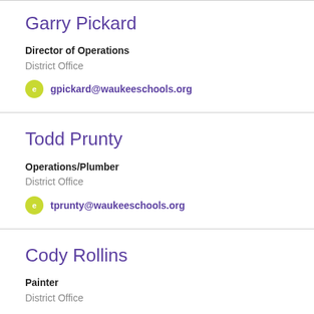Garry Pickard
Director of Operations
District Office
gpickard@waukeeschools.org
Todd Prunty
Operations/Plumber
District Office
tprunty@waukeeschools.org
Cody Rollins
Painter
District Office